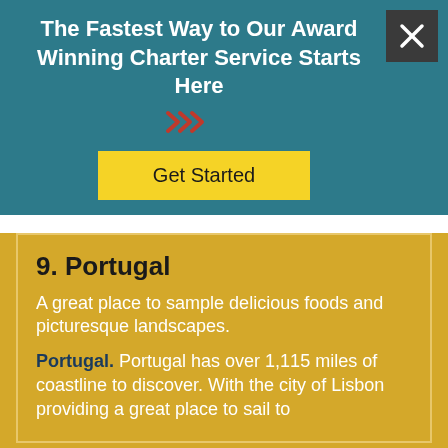The Fastest Way to Our Award Winning Charter Service Starts Here
[Figure (other): Red double chevron arrows pointing right]
Get Started
9. Portugal
A great place to sample delicious foods and picturesque landscapes.
Portugal. Portugal has over 1,115 miles of coastline to discover. With the city of Lisbon providing a great place to sail to